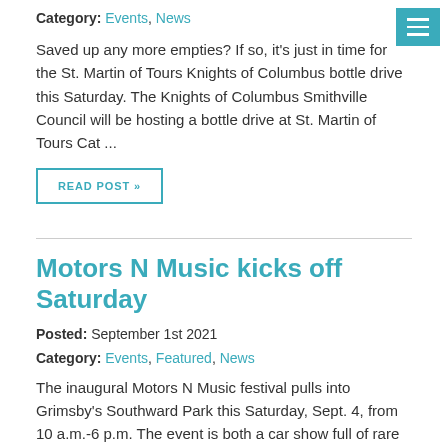Category: Events, News
Saved up any more empties? If so, it's just in time for the St. Martin of Tours Knights of Columbus bottle drive this Saturday. The Knights of Columbus Smithville Council will be hosting a bottle drive at St. Martin of Tours Cat ...
READ POST »
Motors N Music kicks off Saturday
Posted: September 1st 2021
Category: Events, Featured, News
The inaugural Motors N Music festival pulls into Grimsby's Southward Park this Saturday, Sept. 4, from 10 a.m.-6 p.m. The event is both a car show full of rare and exotic models – as part of a juried show – and a live music co ...
READ POST »